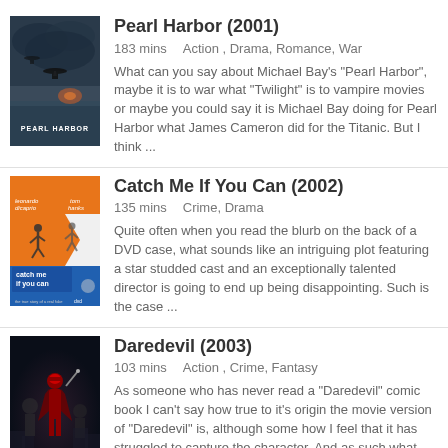[Figure (illustration): Pearl Harbor (2001) movie poster - dark stormy sky with planes]
Pearl Harbor (2001)
183 mins    Action , Drama, Romance, War
What can you say about Michael Bay's "Pearl Harbor", maybe it is to war what "Twilight" is to vampire movies or maybe you could say it is Michael Bay doing for Pearl Harbor what James Cameron did for the Titanic. But I think ...
[Figure (illustration): Catch Me If You Can (2002) movie poster - orange and white design with running figures]
Catch Me If You Can (2002)
135 mins    Crime, Drama
Quite often when you read the blurb on the back of a DVD case, what sounds like an intriguing plot featuring a star studded cast and an exceptionally talented director is going to end up being disappointing. Such is the case ...
[Figure (illustration): Daredevil (2003) movie poster - dark blue background with red costumed superhero]
Daredevil (2003)
103 mins    Action , Crime, Fantasy
As someone who has never read a "Daredevil" comic book I can't say how true to it's origin the movie version of "Daredevil" is, although some how I feel that it has struggled to capture the character. And as such what "Darede...
4 C...